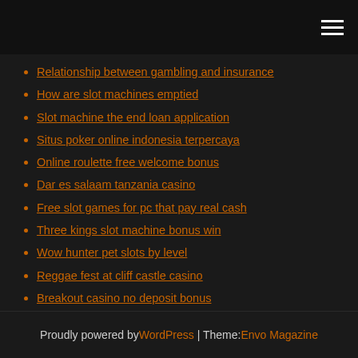[hamburger menu icon]
Relationship between gambling and insurance
How are slot machines emptied
Slot machine the end loan application
Situs poker online indonesia terpercaya
Online roulette free welcome bonus
Dar es salaam tanzania casino
Free slot games for pc that pay real cash
Three kings slot machine bonus win
Wow hunter pet slots by level
Reggae fest at cliff castle casino
Breakout casino no deposit bonus
Proudly powered by WordPress | Theme: Envo Magazine